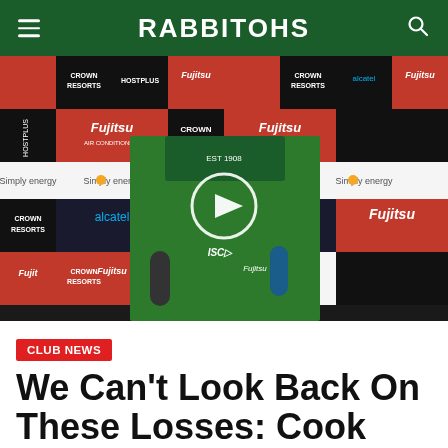RABBITOHS
[Figure (photo): Video thumbnail showing a rugby league player in green South Sydney Rabbitohs jersey being interviewed in front of sponsor backdrop with Crown Resorts, Fujitsu, Hostplus, Alcatel, Simply Energy logos. A play button overlay is visible in the center.]
CLUB NEWS
We Can't Look Back On These Losses: Cook